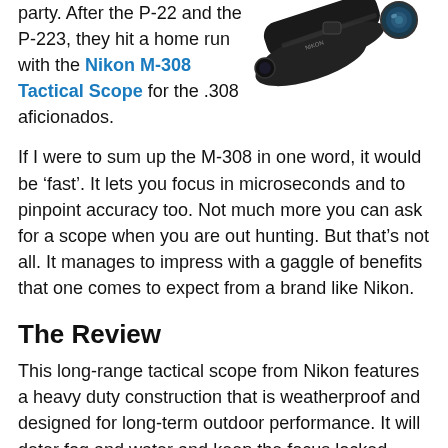party. After the P-22 and the P-223, they hit a home run with the Nikon M-308 Tactical Scope for the .308 aficionados.
[Figure (photo): A black Nikon M-308 tactical rifle scope shown at an angle, with visible lens on the right end.]
If I were to sum up the M-308 in one word, it would be ‘fast’. It lets you focus in microseconds and to pinpoint accuracy too. Not much more you can ask for a scope when you are out hunting. But that’s not all. It manages to impress with a gaggle of benefits that one comes to expect from a brand like Nikon.
The Review
This long-range tactical scope from Nikon features a heavy duty construction that is weatherproof and designed for long-term outdoor performance. It will deter fog and water and keep the focus locked even in a recoil heavy rifle.